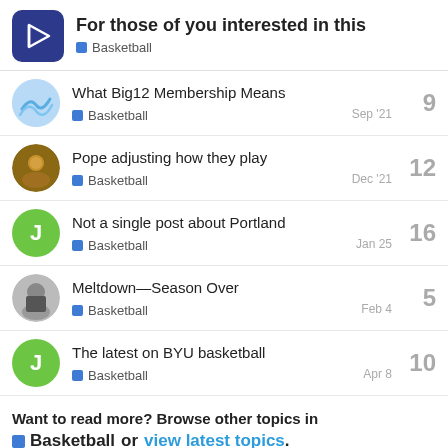For those of you interested in this — Basketball
What Big12 Membership Means — Basketball — Sep '21 — 9 replies
Pope adjusting how they play — Basketball — Dec '21 — 12 replies
Not a single post about Portland — Basketball — Jan 25 — 16 replies
Meltdown—Season Over — Basketball — Feb 4 — 5 replies
The latest on BYU basketball — Basketball — Apr 8 — 10 replies
Want to read more? Browse other topics in Basketball or view latest topics.